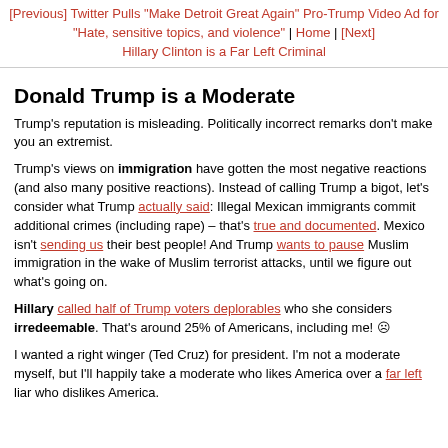[Previous] Twitter Pulls "Make Detroit Great Again" Pro-Trump Video Ad for "Hate, sensitive topics, and violence" | Home | [Next] Hillary Clinton is a Far Left Criminal
Donald Trump is a Moderate
Trump's reputation is misleading. Politically incorrect remarks don't make you an extremist.
Trump's views on immigration have gotten the most negative reactions (and also many positive reactions). Instead of calling Trump a bigot, let's consider what Trump actually said: Illegal Mexican immigrants commit additional crimes (including rape) – that's true and documented. Mexico isn't sending us their best people! And Trump wants to pause Muslim immigration in the wake of Muslim terrorist attacks, until we figure out what's going on.
Hillary called half of Trump voters deplorables who she considers irredeemable. That's around 25% of Americans, including me! ☹
I wanted a right winger (Ted Cruz) for president. I'm not a moderate myself, but I'll happily take a moderate who likes America over a far left liar who dislikes America.